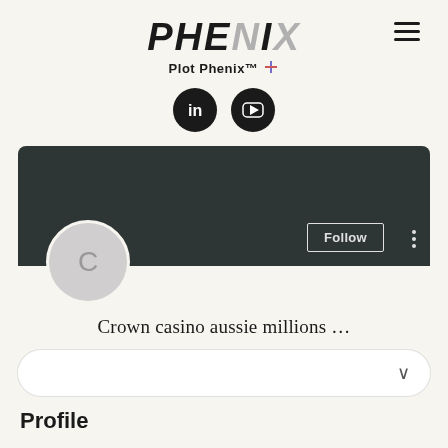[Figure (logo): Phenix logo with italic bold text PHENIX in black/grey and tagline 'Plot Phenix™' with a stylized X icon]
[Figure (other): Hamburger menu icon (three horizontal lines) in the top right]
[Figure (other): Social media icons: LinkedIn (in) and YouTube (play button) as black circular buttons]
[Figure (screenshot): User profile card with dark banner, avatar circle showing letter C, Follow button, and three-dot menu]
Crown casino aussie millions …
[Figure (other): Dropdown/select bar with chevron down arrow]
Profile